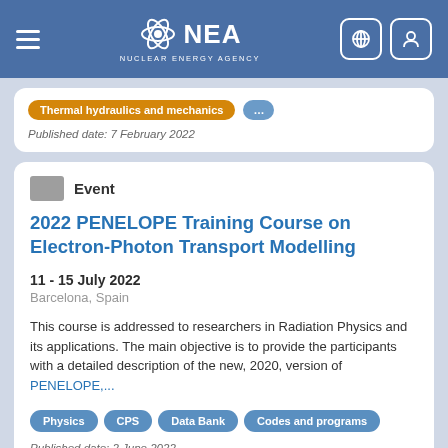NEA Nuclear Energy Agency
Thermal hydraulics and mechanics  ...  Published date: 7 February 2022
Event
2022 PENELOPE Training Course on Electron-Photon Transport Modelling
11 - 15 July 2022
Barcelona, Spain
This course is addressed to researchers in Radiation Physics and its applications. The main objective is to provide the participants with a detailed description of the new, 2020, version of PENELOPE,...
Physics  CPS  Data Bank  Codes and programs  Published date: 2 June 2022